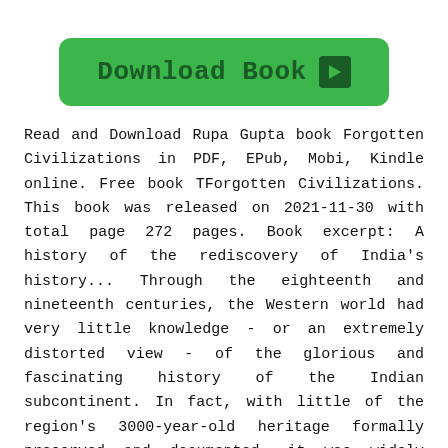[Figure (other): Green 'Download Book' button with dark green arrow icon on right]
Read and Download Rupa Gupta book Forgotten Civilizations in PDF, EPub, Mobi, Kindle online. Free book TForgotten Civilizations. This book was released on 2021-11-30 with total page 272 pages. Book excerpt: A history of the rediscovery of India's history... Through the eighteenth and nineteenth centuries, the Western world had very little knowledge - or an extremely distorted view - of the glorious and fascinating history of the Indian subcontinent. In fact, with little of the region's 3000-year-old heritage formally preserved and documented, it was widely believed that the country's history had begun with the reign of the Mughals. When the British gained